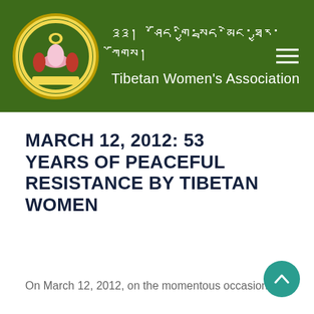Tibetan Women's Association
MARCH 12, 2012: 53 YEARS OF PEACEFUL RESISTANCE BY TIBETAN WOMEN
On March 12, 2012, on the momentous occasion